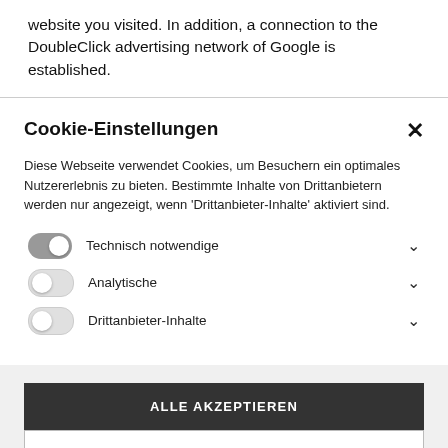website you visited. In addition, a connection to the DoubleClick advertising network of Google is established.
Cookie-Einstellungen
Diese Webseite verwendet Cookies, um Besuchern ein optimales Nutzererlebnis zu bieten. Bestimmte Inhalte von Drittanbietern werden nur angezeigt, wenn 'Drittanbieter-Inhalte' aktiviert sind.
Technisch notwendige
Analytische
Drittanbieter-Inhalte
ALLE AKZEPTIEREN
SPEICHERN